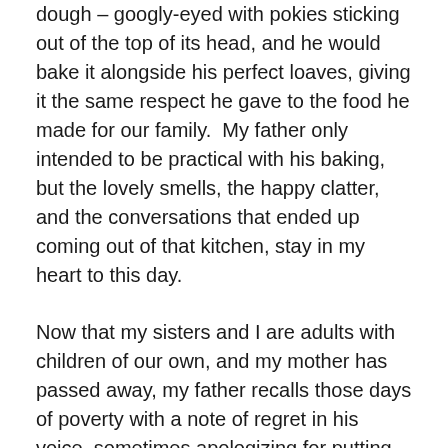dough – googly-eyed with pokies sticking out of the top of its head, and he would bake it alongside his perfect loaves, giving it the same respect he gave to the food he made for our family.  My father only intended to be practical with his baking, but the lovely smells, the happy clatter, and the conversations that ended up coming out of that kitchen, stay in my heart to this day.
Now that my sisters and I are adults with children of our own, and my mother has passed away, my father recalls those days of poverty with a note of regret in his voice, sometimes apologizing for putting the family through so much hardship.  But I remember that Christmas as the best Christmas I ever had.  We didn't have a tree, just a very tall (taller than me!) bottle from Mexico that my mother managed to decorate so beautifully that we could